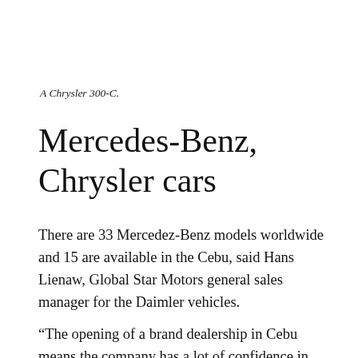A Chrysler 300-C.
Mercedes-Benz, Chrysler cars
There are 33 Mercedez-Benz models worldwide and 15 are available in the Cebu, said Hans Lienaw, Global Star Motors general sales manager for the Daimler vehicles.
“The opening of a brand dealership in Cebu means the company has a lot of confidence in the